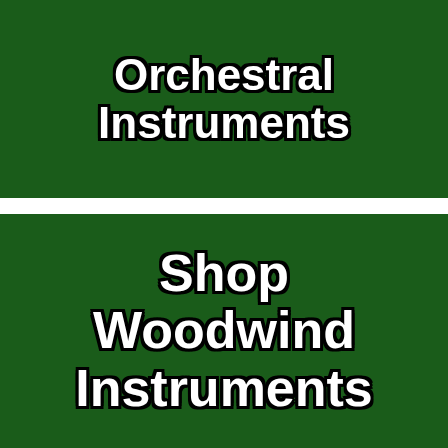[Figure (other): Dark green banner with bold white text reading 'Orchestral Instruments' with black outline stroke]
[Figure (other): Dark green banner with bold white text reading 'Shop Woodwind Instruments' with black outline stroke]